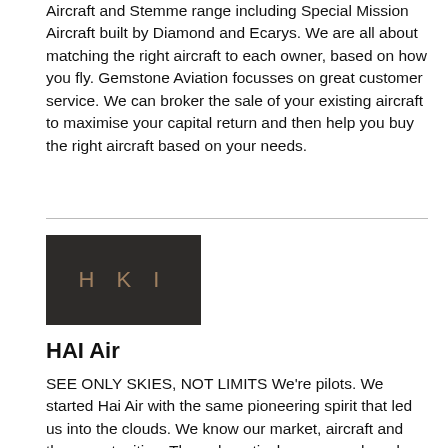Aircraft and Stemme range including Special Mission Aircraft built by Diamond and Ecarys. We are all about matching the right aircraft to each owner, based on how you fly. Gemstone Aviation focusses on great customer service. We can broker the sale of your existing aircraft to maximise your capital return and then help you buy the right aircraft based on your needs.
[Figure (logo): HAI logo — dark brown/charcoal background with stylized 'H A I' text in muted gold/bronze lettering]
HAI Air
SEE ONLY SKIES, NOT LIMITS We're pilots. We started Hai Air with the same pioneering spirit that led us into the clouds. We know our market, aircraft and the opportunities. Through meticulous research and decades of shared expertise, experience and